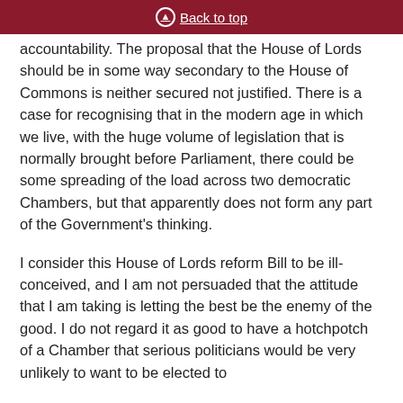Back to top
accountability. The proposal that the House of Lords should be in some way secondary to the House of Commons is neither secured not justified. There is a case for recognising that in the modern age in which we live, with the huge volume of legislation that is normally brought before Parliament, there could be some spreading of the load across two democratic Chambers, but that apparently does not form any part of the Government’s thinking.
I consider this House of Lords reform Bill to be ill-conceived, and I am not persuaded that the attitude that I am taking is letting the best be the enemy of the good. I do not regard it as good to have a hotchpotch of a Chamber that serious politicians would be very unlikely to want to be elected to